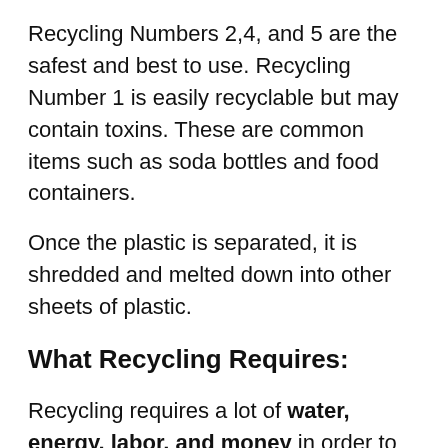Recycling Numbers 2,4, and 5 are the safest and best to use. Recycling Number 1 is easily recyclable but may contain toxins. These are common items such as soda bottles and food containers.
Once the plastic is separated, it is shredded and melted down into other sheets of plastic.
What Recycling Requires:
Recycling requires a lot of water, energy, labor, and money in order to complete the entire process. Not to mention, how incredible the pollution is from operating the recycling plants.